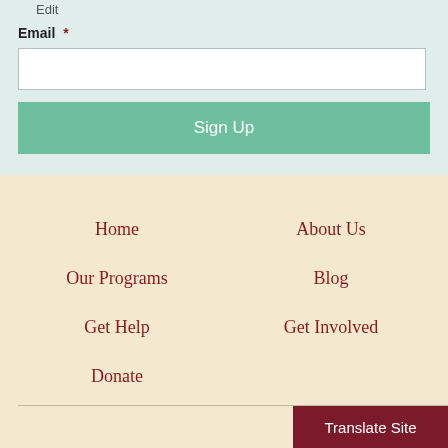Edit
Email *
Sign Up
Home
About Us
Our Programs
Blog
Get Help
Get Involved
Donate
Translate Site